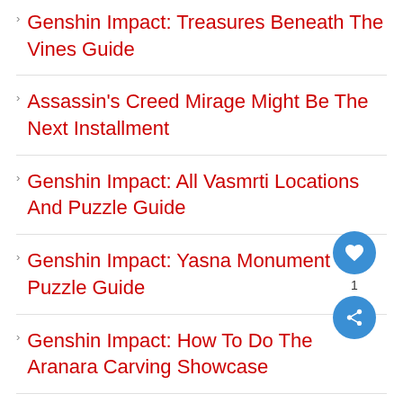Genshin Impact: Treasures Beneath The Vines Guide
Assassin's Creed Mirage Might Be The Next Installment
Genshin Impact: All Vasmrti Locations And Puzzle Guide
Genshin Impact: Yasna Monument Puzzle Guide
Genshin Impact: How To Do The Aranara Carving Showcase
Genshin Impact: How To Play Aragita's